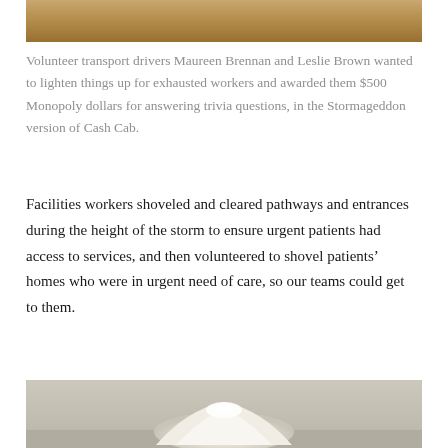[Figure (photo): Top portion of photo showing people holding Monopoly money/cash]
Volunteer transport drivers Maureen Brennan and Leslie Brown wanted to lighten things up for exhausted workers and awarded them $500 Monopoly dollars for answering trivia questions, in the Stormageddon version of Cash Cab.
Facilities workers shoveled and cleared pathways and entrances during the height of the storm to ensure urgent patients had access to services, and then volunteered to shovel patients’ homes who were in urgent need of care, so our teams could get to them.
[Figure (photo): Bottom portion of photo showing a pile of snow/shoveled debris on a surface]